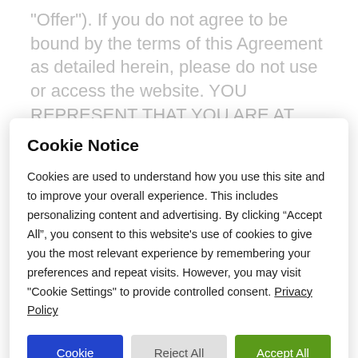"Offer"). If you do not agree to be bound by the terms of this Agreement as detailed herein, please do not use or access the website. YOU REPRESENT THAT YOU ARE AT LEAST 18 YEARS OLD AND LEGALLY COMPETENT TO ENTER INTO THIS AGREEMENT IN YOUR PARTICULAR
Cookie Notice
Cookies are used to understand how you use this site and to improve your overall experience. This includes personalizing content and advertising. By clicking “Accept All”, you consent to this website's use of cookies to give you the most relevant experience by remembering your preferences and repeat visits. However, you may visit "Cookie Settings" to provide controlled consent. Privacy Policy
Cookie Settings | Reject All | Accept All